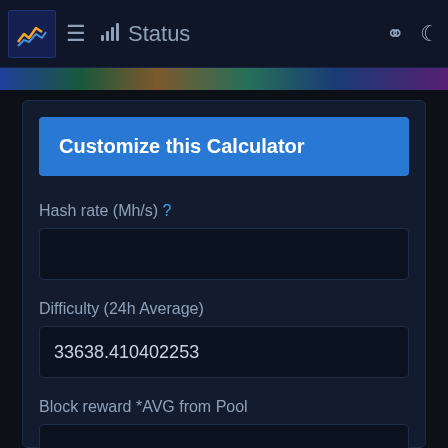Status
Customize this Calculator
Hash rate (Mh/s) ?
Difficulty (24h Average)
33638.410402253
Block reward *AVG from Pool